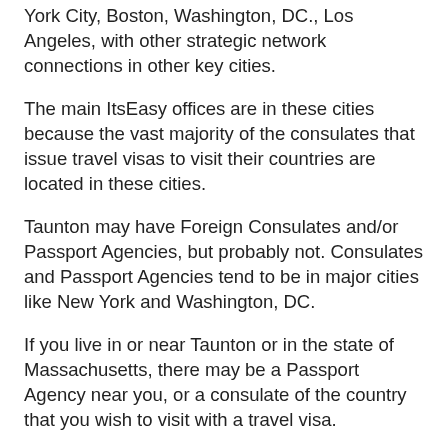York City, Boston, Washington, DC., Los Angeles, with other strategic network connections in other key cities.
The main ItsEasy offices are in these cities because the vast majority of the consulates that issue travel visas to visit their countries are located in these cities.
Taunton may have Foreign Consulates and/or Passport Agencies, but probably not. Consulates and Passport Agencies tend to be in major cities like New York and Washington, DC.
If you live in or near Taunton or in the state of Massachusetts, there may be a Passport Agency near you, or a consulate of the country that you wish to visit with a travel visa.
Via FedEx, ItsEasy Passport & Visa can help all of the residents of Taunton to obtain Passports and Travel